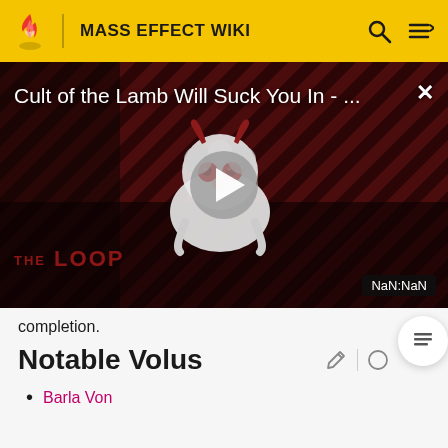MASS EFFECT WIKI
[Figure (screenshot): Video overlay showing 'Cult of the Lamb Will Suck You In - ...' with THE LOOP branding, a play button in the center, and NaN:NaN timestamp badge at bottom right]
completion.
Notable Volus
Barla Von